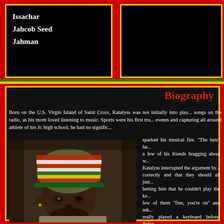Issachar
Jahcob Seed
Jahman
[Figure (photo): Black box / navigation area top right]
Biography
Born on the U.S. Virgin Island of Saint Croix, Katalyss was not initially into playing songs on the radio, as his mom loved listening to music. Sports were his first true love, events and capturing all around athlete of his Jr. high school, he had no significant sparked his musical fire. "The bets" ha... a few of his friends bragging about w... Katalyss interrupted the argument by... correctly and that they should all just... betting him that he couldn't play the ke... few of them "fine, you're on" and ask... really played a keyboard before. Befor... began to play one of the songs and wo... Katalyss' innermost feelings until the ... writing songs in 1987 and never looked...
[Figure (photo): Photo of Katalyss wearing a green/yellow/red/white striped rasta hat, dark complexion man looking to the side]
This self-taught musician and vocalist... nineteen years old, he had already won... called a "road march", twice, while att... Katalyss...